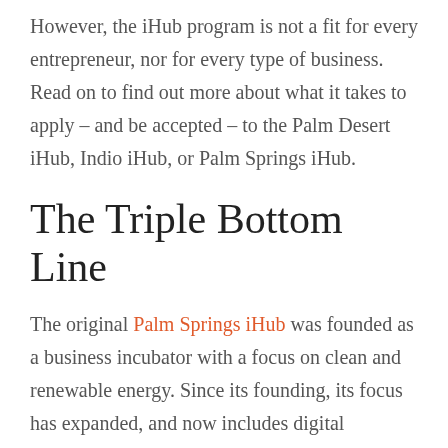However, the iHub program is not a fit for every entrepreneur, nor for every type of business. Read on to find out more about what it takes to apply – and be accepted – to the Palm Desert iHub, Indio iHub, or Palm Springs iHub.
The Triple Bottom Line
The original Palm Springs iHub was founded as a business incubator with a focus on clean and renewable energy. Since its founding, its focus has expanded, and now includes digital technologies and consumer goods. The Palm Desert iHub is uniquely suited to tech-based startups, with more of the focus being on...